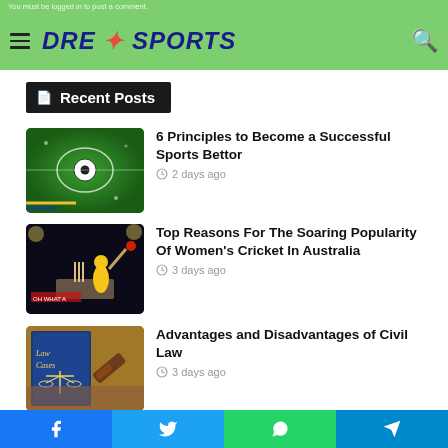You must be logged in to post a comment.
DREKSPORTS
Recent Posts
6 Principles to Become a Successful Sports Bettor
2 days ago
Top Reasons For The Soaring Popularity Of Women's Cricket In Australia
3 days ago
Advantages and Disadvantages of Civil Law
3 days ago
Enjoy Online Casino Baccarat at Par
Facebook Twitter WhatsApp Telegram